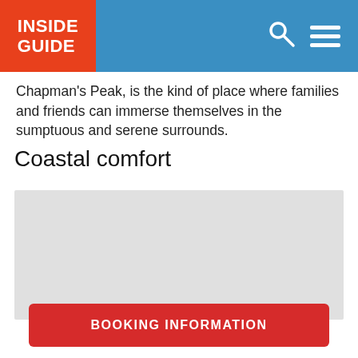INSIDE GUIDE
Chapman's Peak, is the kind of place where families and friends can immerse themselves in the sumptuous and serene surrounds.
Coastal comfort
[Figure (photo): Grey placeholder image for a coastal photo]
BOOKING INFORMATION